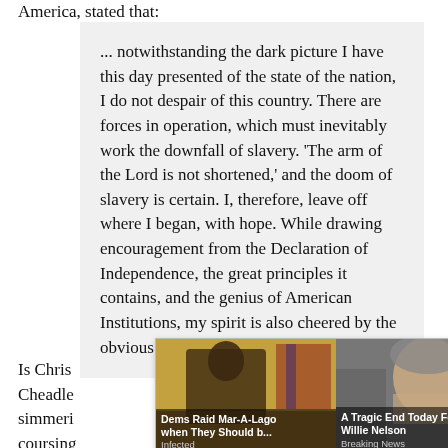America, stated that:
... notwithstanding the dark picture I have this day presented of the state of the nation, I do not despair of this country. There are forces in operation, which must inevitably work the downfall of slavery. 'The arm of the Lord is not shortened,' and the doom of slavery is certain. I, therefore, leave off where I began, with hope. While drawing encouragement from the Declaration of Independence, the great principles it contains, and the genius of American Institutions, my spirit is also cheered by the obvious tendencies of the age.
Is Chris [obscured by ad] n Cheadle [obscured by ad] tive of a simmeri[obscured by ad] is coursing [obscured by ad] Each
[Figure (screenshot): Advertisement overlay showing two ad cards: Left card shows an image of a person at a desk with headline 'Dems Raid Mar-A-Lago when They Should b...' and label 'Infected'. Right card shows an elderly man with headline 'A Tragic End Today For Willie Nelson' and label 'Breaking News'. A close button (×) appears at top right of the overlay.]